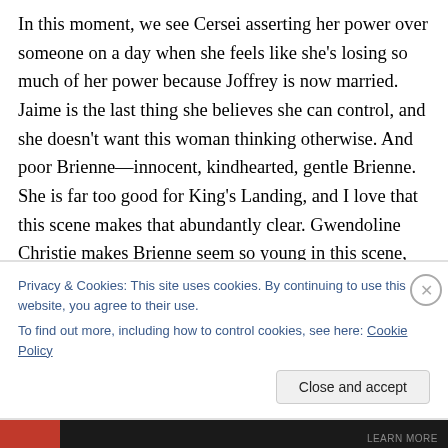In this moment, we see Cersei asserting her power over someone on a day when she feels like she's losing so much of her power because Joffrey is now married. Jaime is the last thing she believes she can control, and she doesn't want this woman thinking otherwise. And poor Brienne—innocent, kindhearted, gentle Brienne. She is far too good for King's Landing, and I love that this scene makes that abundantly clear. Gwendoline Christie makes Brienne seem so young in this scene, and it contrasts perfectly with Cersei's demeanor. Her smile when discussing how Jaime rescued her brought me joy and
Privacy & Cookies: This site uses cookies. By continuing to use this website, you agree to their use.
To find out more, including how to control cookies, see here: Cookie Policy